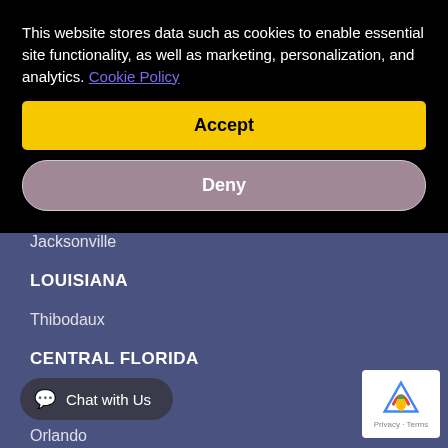This website stores data such as cookies to enable essential site functionality, as well as marketing, personalization, and analytics. Cookie Policy
Accept
Deny
Jacksonville
LOUISIANA
Thibodaux
CENTRAL FLORIDA
Ocala
Orlando
Chat with Us
SOUTH FLORIDA